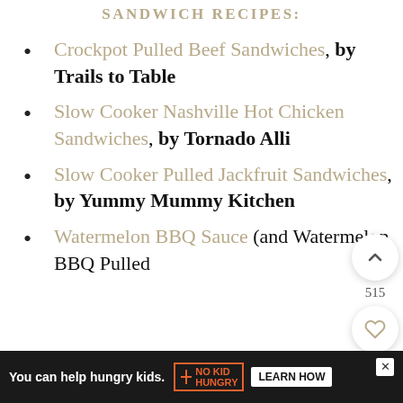SANDWICH RECIPES:
Crockpot Pulled Beef Sandwiches, by Trails to Table
Slow Cooker Nashville Hot Chicken Sandwiches, by Tornado Alli
Slow Cooker Pulled Jackfruit Sandwiches, by Yummy Mummy Kitchen
Watermelon BBQ Sauce (and Watermelon BBQ Pulled
You can help hungry kids. NO KID HUNGRY LEARN HOW